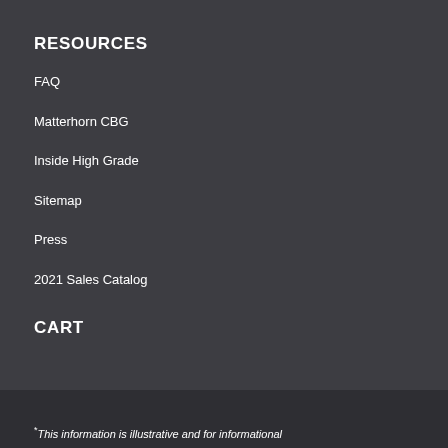RESOURCES
FAQ
Matterhorn CBG
Inside High Grade
Sitemap
Press
2021 Sales Catalog
CART
*This information is illustrative and for informational